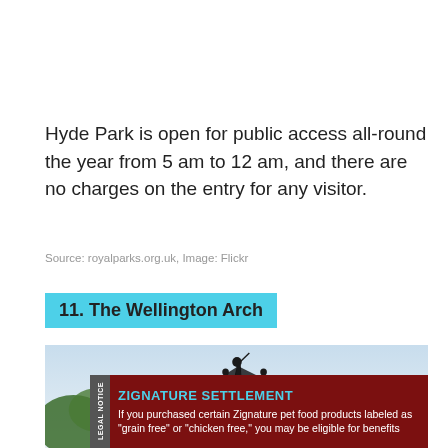Hyde Park is open for public access all-round the year from 5 am to 12 am, and there are no charges on the entry for any visitor.
Source: royalparks.org.uk, Image: Flickr
11. The Wellington Arch
[Figure (photo): Photo of The Wellington Arch sculpture/statue against a light sky, with an advertisement overlay at the bottom reading 'ZIGNATURE SETTLEMENT - If you purchased certain Zignature pet food products labeled as grain free or chicken free, you may be eligible for benefits']